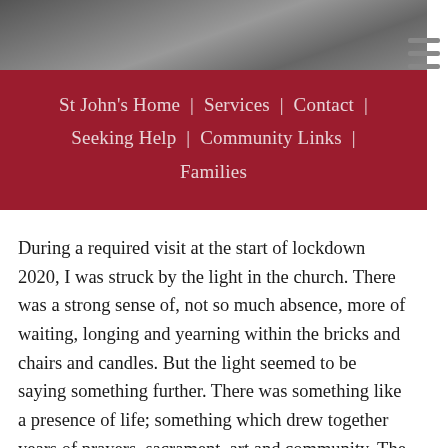[Figure (photo): Grayscale photo strip at top of page showing blurred/dark image]
St John's Home | Services | Contact | Seeking Help | Community Links | Families
During a required visit at the start of lockdown 2020, I was struck by the light in the church. There was a strong sense of, not so much absence, more of waiting, longing and yearning within the bricks and chairs and candles. But the light seemed to be saying something further. There was something like a presence of life; something which drew together years of prayers, sacrament, art and community. The light seemed to speak of insistance, of a whispered hope. I wanted to share the photos with you all.